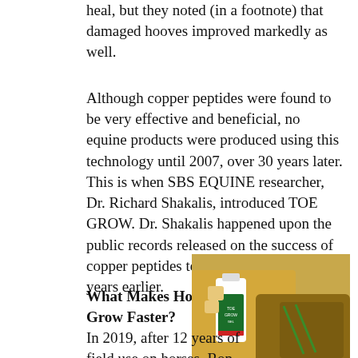heal, but they noted (in a footnote) that damaged hooves improved markedly as well.
Although copper peptides were found to be very effective and beneficial, no equine products were produced using this technology until 2007, over 30 years later. This is when SBS EQUINE researcher, Dr. Richard Shakalis, introduced TOE GROW. Dr. Shakalis happened upon the public records released on the success of copper peptides tested on horses many years earlier.
What Makes Hooves Grow Faster?
[Figure (photo): Photo of a bottle of TOE GROW GEL being applied to a horse hoof, with gloved hands holding the bottle over a damaged hoof on a yellow surface.]
In 2019, after 12 years of field use on horses, Ron Perszewski, associate